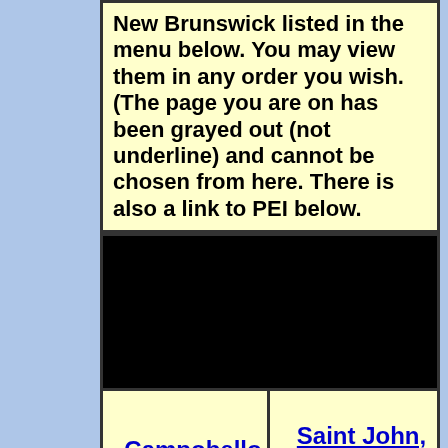New Brunswick listed in the menu below. You may view them in any order you wish. (The page you are on has been grayed out (not underline) and cannot be chosen from here. There is also a link to PEI below.
[Figure (other): Black rectangle banner area]
Campobello Island
Saint John, New Brunswick